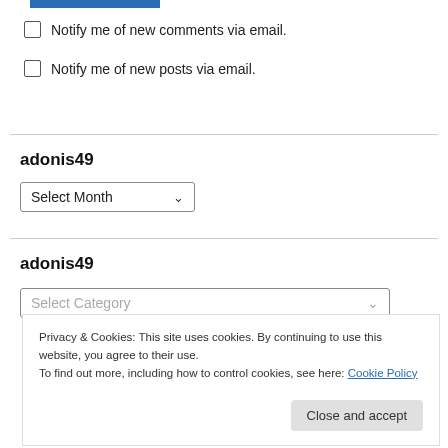[Figure (screenshot): Blue horizontal bar at top of page]
Notify me of new comments via email.
Notify me of new posts via email.
adonis49
Select Month (dropdown)
adonis49
Select Category (dropdown)
Privacy & Cookies: This site uses cookies. By continuing to use this website, you agree to their use.
To find out more, including how to control cookies, see here: Cookie Policy
Close and accept